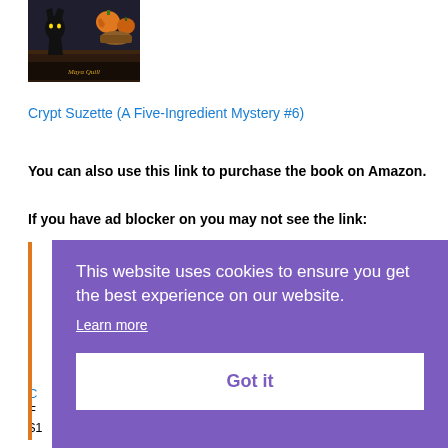[Figure (illustration): Book cover thumbnail showing a black cat silhouette with Halloween pumpkins and a bowl of candy, with text overlay reading 'Maya Quill' or similar]
Crypt Suzette (A Five-Ingredient Mystery #6)
You can also use this link to purchase the book on Amazon.
If you have ad blocker on you may not see the link:
[Figure (screenshot): Cookie consent overlay with purple background containing text: 'This website uses cookies to ensure you get the best experience on our website.' with a 'Learn more' link and 'Got it' button]
C
F
$1